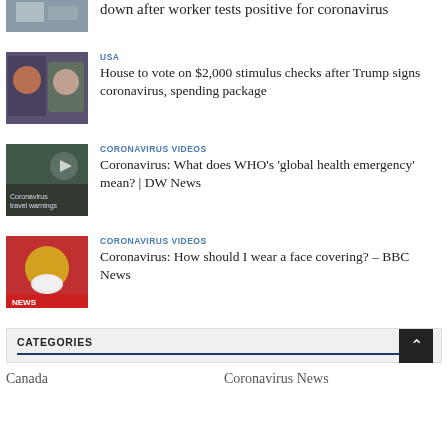[Figure (photo): Building exterior thumbnail, cropped top]
down after worker tests positive for coronavirus
[Figure (photo): Trump and Pelosi photo thumbnail]
USA
House to vote on $2,000 stimulus checks after Trump signs coronavirus, spending package
[Figure (photo): Coronavirus travel warnings video thumbnail]
CORONAVIRUS VIDEOS
Coronavirus: What does WHO’s 'global health emergency' mean? | DW News
[Figure (photo): Animated face covering illustration, BBC News thumbnail]
CORONAVIRUS VIDEOS
Coronavirus: How should I wear a face covering? – BBC News
CATEGORIES
Canada
Coronavirus News